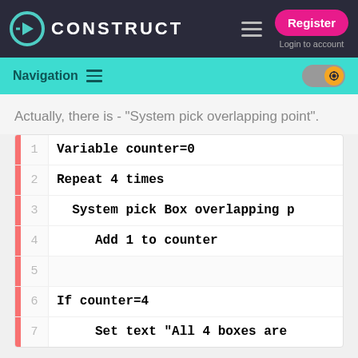[Figure (screenshot): Construct game engine website top navigation bar with logo, hamburger menu, Register button, and Login to account text]
[Figure (screenshot): Navigation sub-bar with teal background showing Navigation label, hamburger icon, and settings gear toggle]
Actually, there is - "System pick overlapping point".
[Figure (screenshot): Code block showing 7 lines: 1: Variable counter=0, 2: Repeat 4 times, 3: System pick Box overlapping p, 4: Add 1 to counter, 5: (empty), 6: If counter=4, 7: Set text "All 4 boxes are]